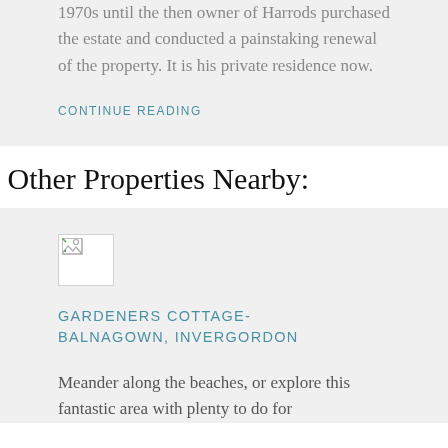1970s until the then owner of Harrods purchased the estate and conducted a painstaking renewal of the property. It is his private residence now.
CONTINUE READING
Other Properties Nearby:
[Figure (photo): Broken image placeholder icon]
GARDENERS COTTAGE-BALNAGOWN, INVERGORDON
Meander along the beaches, or explore this fantastic area with plenty to do for